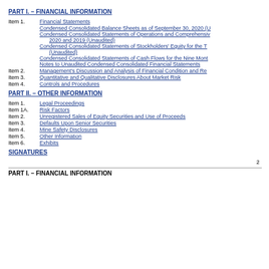PART I. – FINANCIAL INFORMATION
Item 1.   Financial Statements
Condensed Consolidated Balance Sheets as of September 30, 2020 (U...
Condensed Consolidated Statements of Operations and Comprehensive... 2020 and 2019 (Unaudited)
Condensed Consolidated Statements of Stockholders' Equity for the T... (Unaudited)
Condensed Consolidated Statements of Cash Flows for the Nine Mont...
Notes to Unaudited Condensed Consolidated Financial Statements
Item 2.   Management's Discussion and Analysis of Financial Condition and Re...
Item 3.   Quantitative and Qualitative Disclosures About Market Risk
Item 4.   Controls and Procedures
PART II. – OTHER INFORMATION
Item 1.   Legal Proceedings
Item 1A.  Risk Factors
Item 2.   Unregistered Sales of Equity Securities and Use of Proceeds
Item 3.   Defaults Upon Senior Securities
Item 4.   Mine Safety Disclosures
Item 5.   Other Information
Item 6.   Exhibits
SIGNATURES
2
PART I. – FINANCIAL INFORMATION